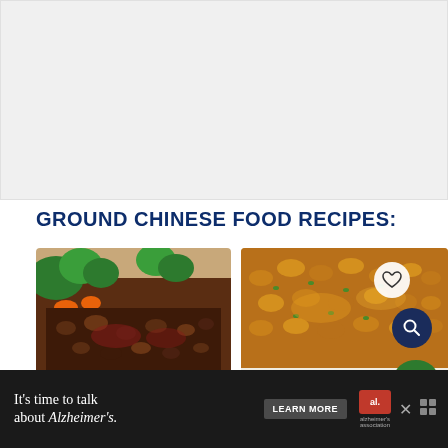[Figure (photo): Light gray placeholder/white space area at top of page]
GROUND CHINESE FOOD RECIPES:
[Figure (photo): Close-up photo of ground beef Chinese stir fry with broccoli and carrots over white rice in a bowl]
[Figure (photo): Close-up photo of ground chicken or turkey Chinese stir fry with green onions over rice with broccoli, with heart and search icon overlaid]
[Figure (other): Advertisement banner: It's time to talk about Alzheimer's. Learn More button with Alzheimer's Association logo]